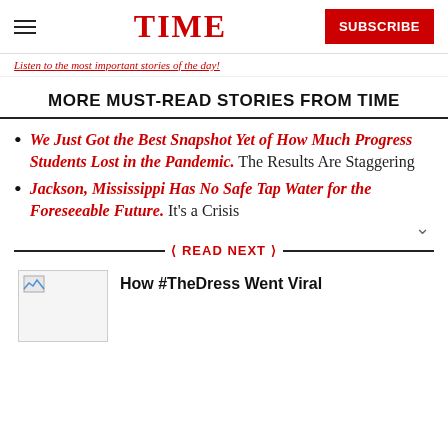TIME
Listen to the most important stories of the day!
MORE MUST-READ STORIES FROM TIME
We Just Got the Best Snapshot Yet of How Much Progress Students Lost in the Pandemic. The Results Are Staggering
Jackson, Mississippi Has No Safe Tap Water for the Foreseeable Future. It's a Crisis
READ NEXT
How #TheDress Went Viral